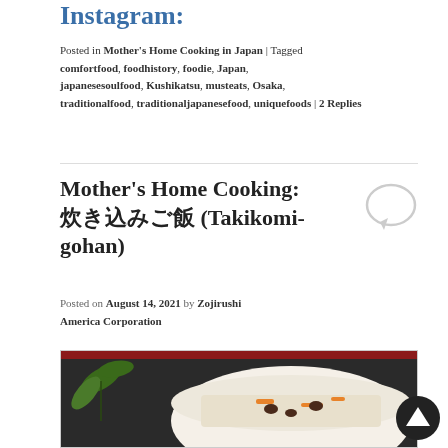Instagram:
Posted in Mother's Home Cooking in Japan | Tagged comfortfood, foodhistory, foodie, Japan, japanesesoulfood, Kushikatsu, musteats, Osaka, traditionalfood, traditionaljapanesefood, uniquefoods | 2 Replies
Mother's Home Cooking: 炊き込みご飯 (Takikomi-gohan)
Posted on August 14, 2021 by Zojirushi America Corporation
[Figure (photo): A bowl of Takikomi-gohan (Japanese mixed rice) with beans, carrots, and other ingredients, garnished with green leaves on a dark background]